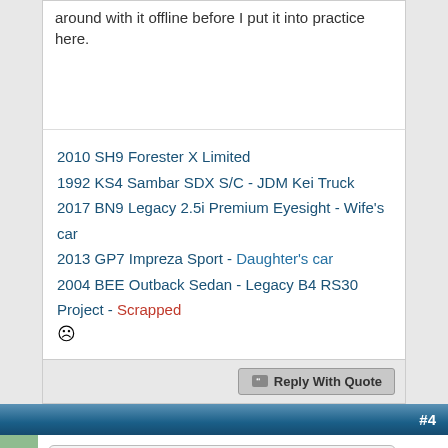around with it offline before I put it into practice here.
2010 SH9 Forester X Limited
1992 KS4 Sambar SDX S/C - JDM Kei Truck
2017 BN9 Legacy 2.5i Premium Eyesight - Wife's car
2013 GP7 Impreza Sport - Daughter's car
2004 BEE Outback Sedan - Legacy B4 RS30 Project - Scrapped ☹
Reply With Quote
#4
Originally Posted by rkrenicki
This list really bothers me with the way it is laid out. It is quite improved now, but it is still a whole lot of white-space that isnt necessary. I have an idea of how better to sort it, but I need to play around with it offline before I put it into practice here.
So here is the results of that offline work, I went through and cleaned up the list significantly and updated the layout into a grid sorted by year and chassis. All of the currently available North